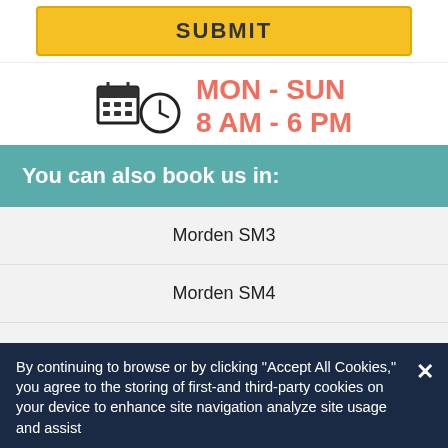[Figure (infographic): Submit button (gold/yellow) at top of page]
[Figure (infographic): Calendar and clock icon with text MON - SUN 8 AM - 6 PM in coral/salmon color]
You can also book us in:
Morden SM3
Morden SM4
Morden Hall Park SM4
Nonsuch SM3
Norbury SE19
By continuing to browse or by clicking "Accept All Cookies," you agree to the storing of first-and third-party cookies on your device to enhance site navigation analyze site usage and assist